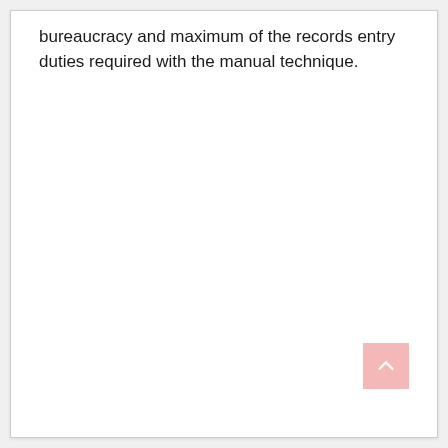bureaucracy and maximum of the records entry duties required with the manual technique.